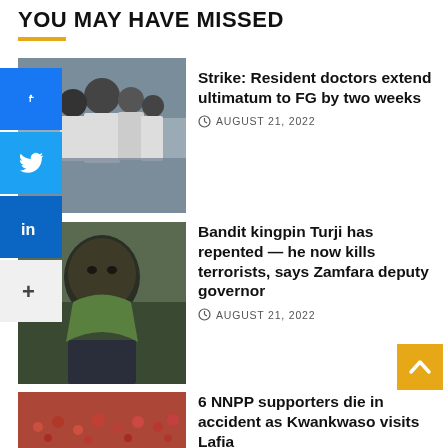YOU MAY HAVE MISSED
[Figure (photo): Group of doctors in white lab coats standing together]
Strike: Resident doctors extend ultimatum to FG by two weeks
AUGUST 21, 2022
[Figure (photo): A man wearing a green scarf and suit jacket, looking serious]
Bandit kingpin Turji has repented — he now kills terrorists, says Zamfara deputy governor
AUGUST 21, 2022
[Figure (photo): Large crowd of supporters at a political rally, mostly in red]
6 NNPP supporters die in accident as Kwankwaso visits Lafia